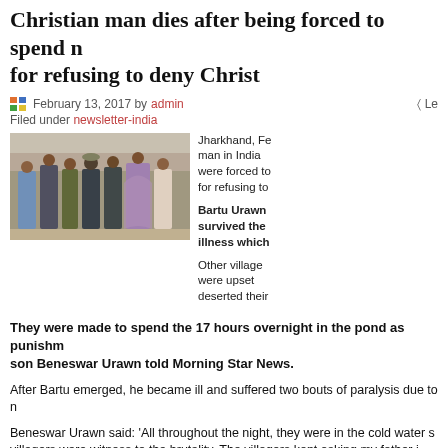Christian man dies after being forced to spend [night in pond] for refusing to deny Christ
February 13, 2017 by admin  Filed under newsletter-india
[Figure (photo): Group of people standing in front of a brick wall outdoors]
Jharkhand, Fe[bruary] man in India [who] were forced to [spend] for refusing to [deny]
Bartu Urawn survived the [overnight] illness which [followed]
Other villagers were upset [that he] deserted their [gods]
They were made to spend the 17 hours overnight in the pond as punishment, son Beneswar Urawn told Morning Star News.
After Bartu emerged, he became ill and suffered two bouts of paralysis due to [the exposure].
Beneswar Urawn said: 'All throughout the night, they were in the cold water so villagers were witness to the brutality. The villagers kept asking my father [to deny]'